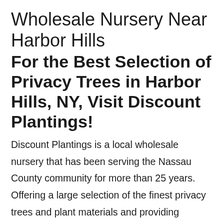Wholesale Nursery Near Harbor Hills
For the Best Selection of Privacy Trees in Harbor Hills, NY, Visit Discount Plantings!
Discount Plantings is a local wholesale nursery that has been serving the Nassau County community for more than 25 years. Offering a large selection of the finest privacy trees and plant materials and providing landscape design and maintenance services, if you’re looking for a local tree nursery near me and you live in the Harbor Hills, NY area, you can count on us to